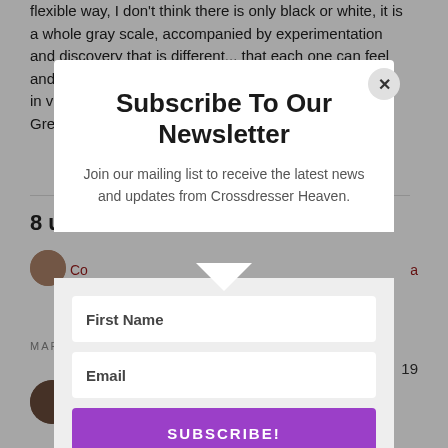flexible way, I don't think there is only black or white, it is a whole gray scale, accompanied by experimentation and discovery that is different... that each one can feel and live in v
Gre
8 u
Co
a
Subscribe To Our Newsletter
Join our mailing list to receive the latest news and updates from Crossdresser Heaven.
First Name
Email
SUBSCRIBE!
We hate spam too, unsubscribe at any time.
MARC
19